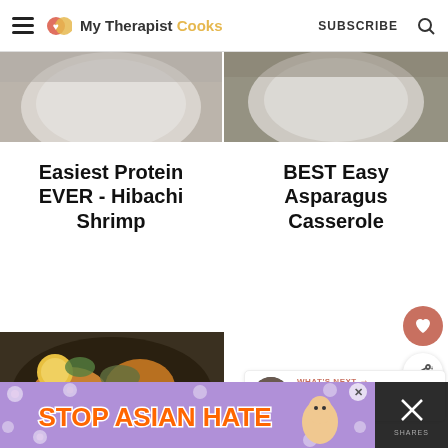My Therapist Cooks — SUBSCRIBE
[Figure (photo): Partial view of a plate/bowl food photo, left column, top]
[Figure (photo): Partial view of a plate/bowl food photo, right column, top]
Easiest Protein EVER - Hibachi Shrimp
BEST Easy Asparagus Casserole
[Figure (photo): Overhead photo of roasted chicken with lemon and herbs in a dark pan]
WHAT'S NEXT → Our Favorite Baby Produ...
[Figure (screenshot): Advertisement banner: STOP ASIAN HATE with illustrated character]